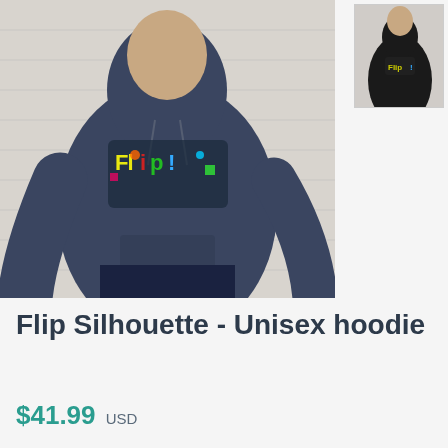[Figure (photo): Main product photo: man wearing a navy blue unisex hoodie with colorful 'Flip!' graphic on the chest, standing against a white brick wall background. Photo is large and takes up the top portion of the page.]
[Figure (photo): Thumbnail photo: man wearing a black version of the same hoodie with 'Flip!' graphic, positioned in the upper right corner.]
Flip Silhouette - Unisex hoodie
$41.99 USD